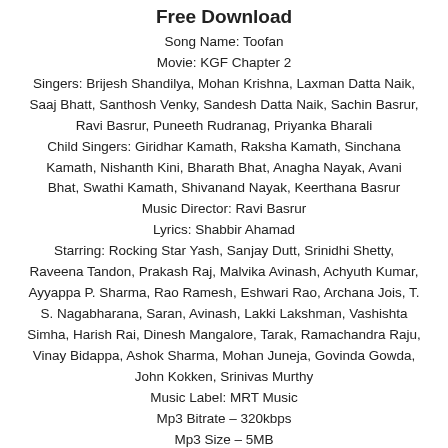Free Download
Song Name: Toofan
Movie: KGF Chapter 2
Singers: Brijesh Shandilya, Mohan Krishna, Laxman Datta Naik, Saaj Bhatt, Santhosh Venky, Sandesh Datta Naik, Sachin Basrur, Ravi Basrur, Puneeth Rudranag, Priyanka Bharali
Child Singers: Giridhar Kamath, Raksha Kamath, Sinchana Kamath, Nishanth Kini, Bharath Bhat, Anagha Nayak, Avani Bhat, Swathi Kamath, Shivanand Nayak, Keerthana Basrur
Music Director: Ravi Basrur
Lyrics: Shabbir Ahamad
Starring: Rocking Star Yash, Sanjay Dutt, Srinidhi Shetty, Raveena Tandon, Prakash Raj, Malvika Avinash, Achyuth Kumar, Ayyappa P. Sharma, Rao Ramesh, Eshwari Rao, Archana Jois, T. S. Nagabharana, Saran, Avinash, Lakki Lakshman, Vashishta Simha, Harish Rai, Dinesh Mangalore, Tarak, Ramachandra Raju, Vinay Bidappa, Ashok Sharma, Mohan Juneja, Govinda Gowda, John Kokken, Srinivas Murthy
Music Label: MRT Music
Mp3 Bitrate – 320kbps
Mp3 Size – 5MB

Story: Free Download Pc 720p 480p Movies Download, 720p